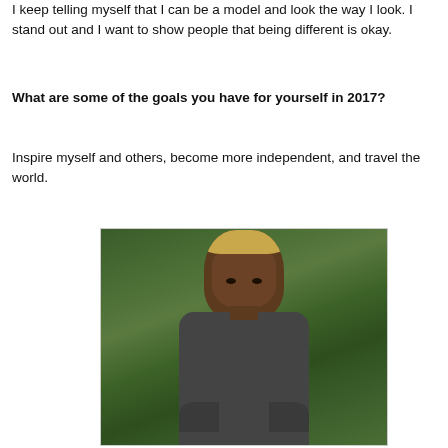I keep telling myself that I can be a model and look the way I look. I stand out and I want to show people that being different is okay.
What are some of the goals you have for yourself in 2017?
Inspire myself and others, become more independent, and travel the world.
[Figure (photo): Portrait photo of a young man with blonde-tipped hair wearing a dark grey sweater, photographed outdoors with green foliage in the background.]